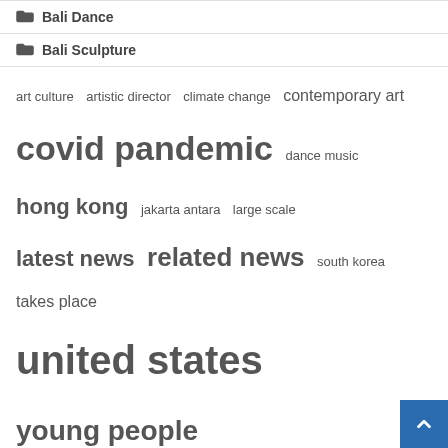Bali Dance
Bali Sculpture
art culture  artistic director  climate change  contemporary art  covid pandemic  dance music  hong kong  jakarta antara  large scale  latest news  related news  south korea  takes place  united states  young people
Recent Posts
Learn about Government Bonds if you’re thinking about investing in India.
The Californian shares her greatest culture after moving to Iowa
Hussaini Brahmins are Hindus but observe Muslim traditions